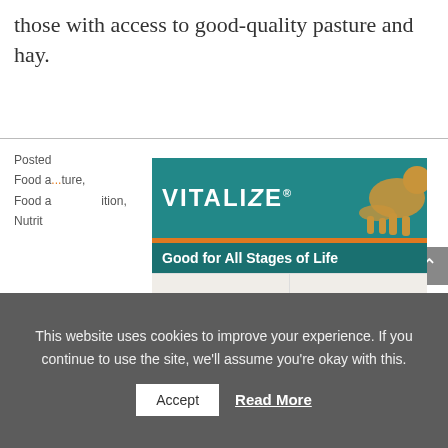those with access to good-quality pasture and hay.
Posted ... ture, Food a ... ition, Nutrit ...
[Figure (advertisement): Vitalize dog supplement advertisement showing 'Good for All Stages of Life' with sections for Breeding, Puppies, Adult Dogs, Senior Dogs, and a product jar.]
Favo
This website uses cookies to improve your experience. If you continue to use the site, we'll assume you're okay with this.
Accept  Read More